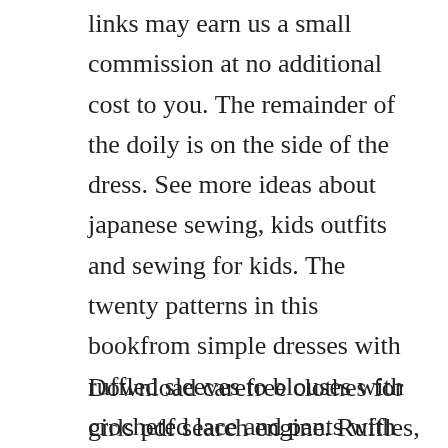links may earn us a small commission at no additional cost to you. The remainder of the doily is on the side of the dress. See more ideas about japanese sewing, kids outfits and sewing for kids. The twenty patterns in this bookfrom simple dresses with ruffled sleeves to blouses with crocheted lace and pants with sewnon legwarmersare of simple. Make the projects in this book and add a little bit of carefree style to your childs life.
Download carefree clothes for girls pdf search engine. Ruffles, buttons, and lace are the